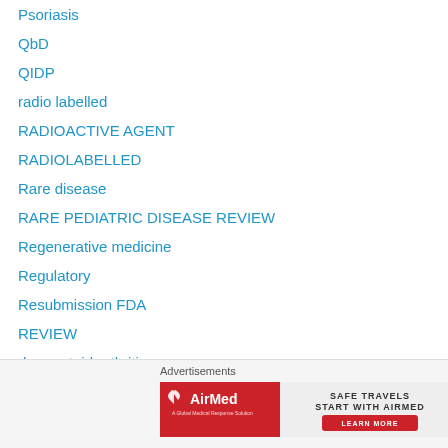Psoriasis
QbD
QIDP
radio labelled
RADIOACTIVE AGENT
RADIOLABELLED
Rare disease
RARE PEDIATRIC DISEASE REVIEW
Regenerative medicine
Regulatory
Resubmission FDA
REVIEW
rheumatoid arthritis
SCHLEROSING AGENT
Scottish Medicines Consortium
sex arousal
[Figure (infographic): AirMed advertisement banner: 'Safe Travels Start With AirMed - Learn More' with 10% off badge]